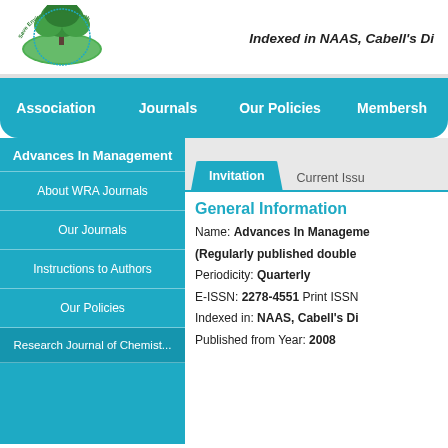[Figure (logo): Save Environment, Save Earth circular logo with tree and globe, green and white colors]
Indexed in NAAS, Cabell's Di
Association   Journals   Our Policies   Membersh
Advances In Management
About WRA Journals
Our Journals
Instructions to Authors
Our Policies
Research Journal of Chemistry
Invitation
Current Issu
General Information
Name: Advances In Manageme
(Regularly published double
Periodicity: Quarterly
E-ISSN: 2278-4551 Print ISSN
Indexed in: NAAS, Cabell's Di
Published from Year: 2008